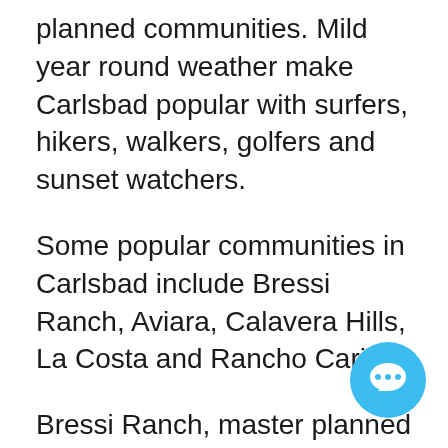planned communities. Mild year round weather make Carlsbad popular with surfers, hikers, walkers, golfers and sunset watchers.
Some popular communities in Carlsbad include Bressi Ranch, Aviara, Calavera Hills, La Costa and Rancho Carillo.
Bressi Ranch, master planned community, has several distinct neighbourhoods with parks and trails, a Swim Club, a Trader Joe's, small boutique restaurants and shops.
Aviara features views of the ocean, Batiquitos Lagoon and hills inland and offers homes in the Spanish and Mediterranean styles with gated